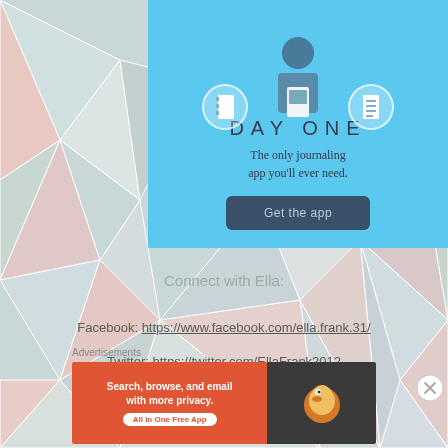[Figure (screenshot): Day One journaling app advertisement banner with blue background, illustration of person holding phone with notebook icons, text 'DAY ONE - The only journaling app you'll ever need.' and a 'Get the app' button]
Connect with Ella:
Facebook: https://www.facebook.com/ella.frank.31/
Twitter: https://twitter.com/EllaFrank2012
Advertisements
[Figure (screenshot): DuckDuckGo advertisement banner: orange left side with text 'Search, browse, and email with more privacy. All in One Free App', dark right side with DuckDuckGo duck logo]